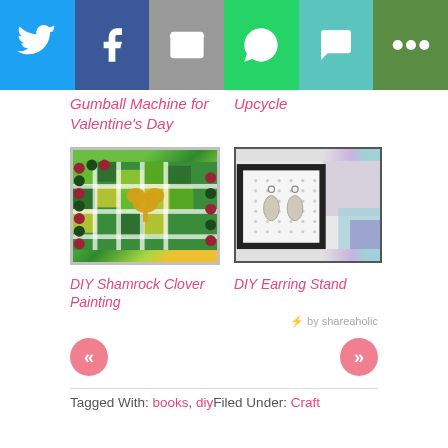[Figure (infographic): Social share bar with Twitter, Facebook, Email, WhatsApp, SMS, and other sharing icons on colored backgrounds]
Gumball Machine for Valentine's Day
Upcycle
[Figure (photo): DIY Shamrock Clover Painting - green mosaic frame with gold glitter shamrock]
[Figure (photo): DIY Earring Stand - black framed pegboard with earrings displayed]
DIY Shamrock Clover Painting
DIY Earring Stand
⚡ by shareaholic
« »
Tagged With: books, diyFiled Under: Craft